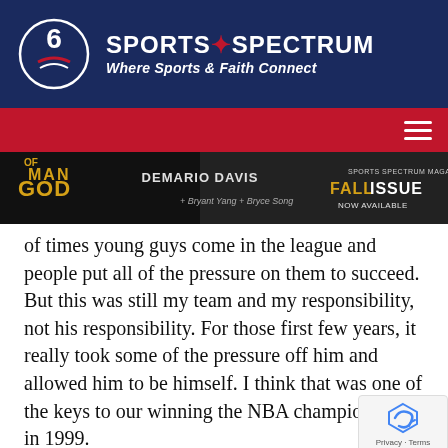[Figure (logo): Sports Spectrum logo with circular emblem and text 'SPORTS SPECTRUM — Where Sports & Faith Connect' on dark navy background]
[Figure (screenshot): Red navigation bar with hamburger menu icon on right]
[Figure (photo): Banner for Sports Spectrum Magazine Fall Issue featuring DeMario Davis, Man of God, Bryant Young, Bryce Song]
of times young guys come in the league and people put all of the pressure on them to succeed. But this was still my team and my responsibility, not his responsibility. For those first few years, it really took some of the pressure off him and allowed him to be himself. I think that was one of the keys to our winning the NBA championship in 1999.
I want to speak of the key...